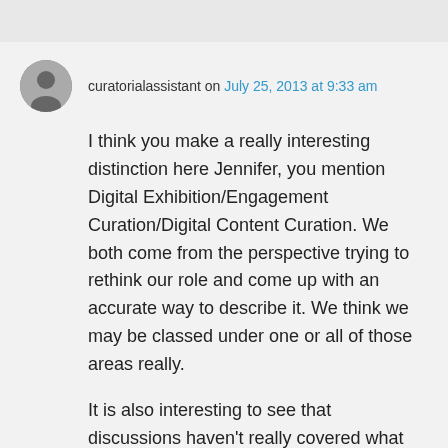curatorialassistant on July 25, 2013 at 9:33 am
I think you make a really interesting distinction here Jennifer, you mention Digital Exhibition/Engagement Curation/Digital Content Curation. We both come from the perspective trying to rethink our role and come up with an accurate way to describe it. We think we may be classed under one or all of those areas really.
It is also interesting to see that discussions haven't really covered what role digital humanities (http://dhh.anu.edu.au/) can play in defining the scope of the digital...